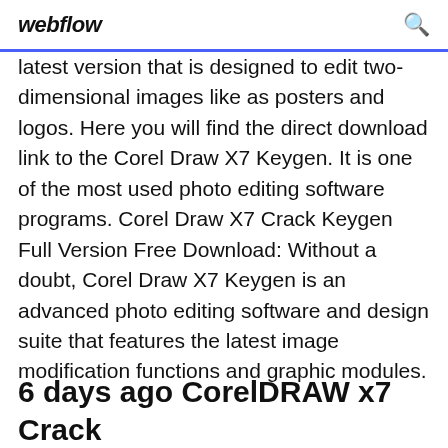webflow
latest version that is designed to edit two-dimensional images like as posters and logos. Here you will find the direct download link to the Corel Draw X7 Keygen. It is one of the most used photo editing software programs. Corel Draw X7 Crack Keygen Full Version Free Download: Without a doubt, Corel Draw X7 Keygen is an advanced photo editing software and design suite that features the latest image modification functions and graphic modules.
6 days ago CorelDRAW x7 Crack